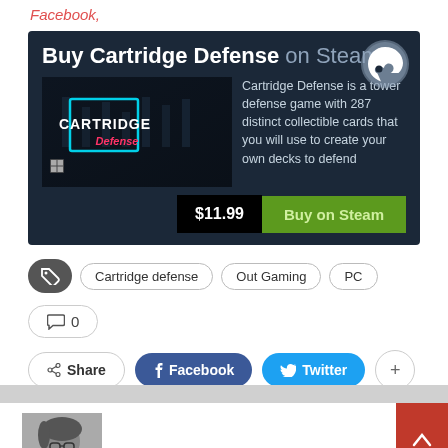Facebook,
[Figure (screenshot): Steam widget for Cartridge Defense game showing title 'Buy Cartridge Defense on Steam', game cover art with Cartridge Defense logo, description text 'Cartridge Defense is a tower defense game with 287 distinct collectible cards that you will use to create your own decks to defend', price $11.99, and 'Buy on Steam' green button. Windows icon bottom left.]
Cartridge defense
Out Gaming
PC
0
Share
Facebook
Twitter